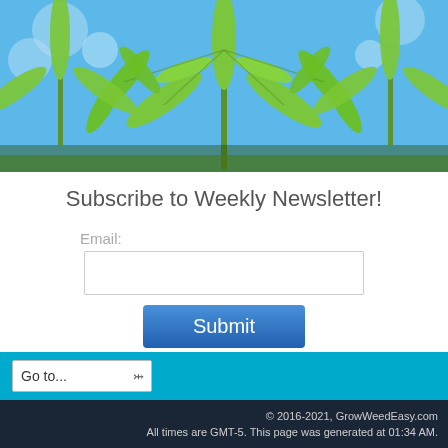[Figure (photo): Close-up photo of bright green cannabis leaves against a blue sky background]
Subscribe to Weekly Newsletter!
Email:
Submit
We respect your email privacy
Go to...
© 2016-2021, GrowWeedEasy.com
All times are GMT-5. This page was generated at 01:34 AM.